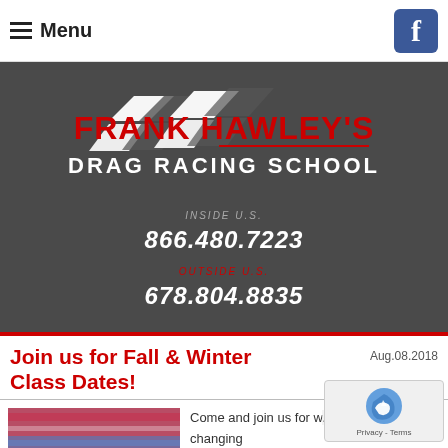Menu | Facebook
[Figure (logo): Frank Hawley's Drag Racing School logo with checkered flag graphic, red and white text on dark background]
INSIDE U.S.
866.480.7223
OUTSIDE U.S.
678.804.8835
Join us for Fall & Winter Class Dates!
Aug.08.2018
[Figure (photo): Blurred action photo of a drag racing car on track with colorful background]
Come and join us for w... of our c... a “life changing